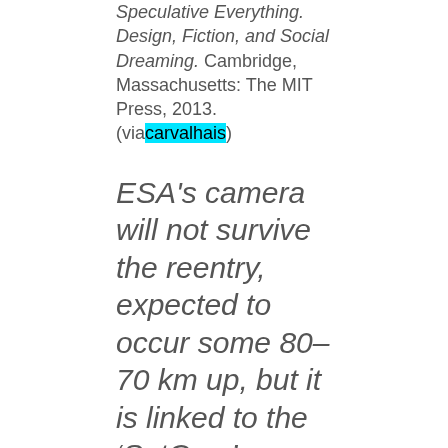Speculative Everything. Design, Fiction, and Social Dreaming. Cambridge, Massachusetts: The MIT Press, 2013. (via carvalhais)
ESA's camera will not survive the reentry, expected to occur some 80–70 km up, but it is linked to the 'SatCom' sphere with a...
2015-02-08
“
ESA's camera will not survive the reentry, expected to occur some 80–70 km up, but it is linked to the 'SatCom' sphere with a